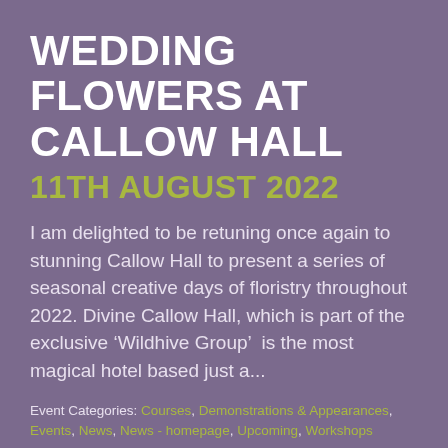WEDDING FLOWERS AT CALLOW HALL
11TH AUGUST 2022
I am delighted to be retuning once again to stunning Callow Hall to present a series of seasonal creative days of floristry throughout 2022. Divine Callow Hall, which is part of the exclusive ‘Wildhive Group’  is the most magical hotel based just a...
Event Categories: Courses, Demonstrations & Appearances, Events, News, News - homepage, Upcoming, Workshops
Read more